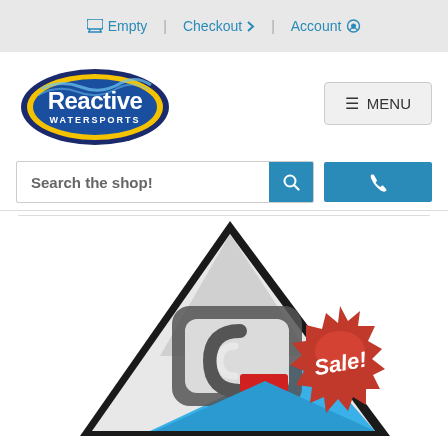Empty | Checkout | Account
[Figure (logo): Reactive Watersports logo - oval shape with blue/yellow border and white text]
≡ MENU
Search the shop!
[Figure (photo): Windsurfing sail product image with gray/blue/red design, shown with a red Sale! badge sticker in the bottom right]